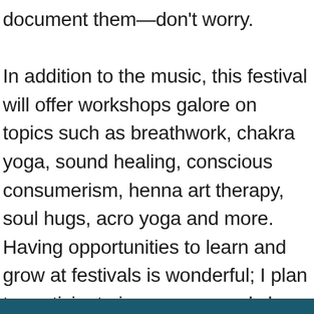document them—don't worry.

In addition to the music, this festival will offer workshops galore on topics such as breathwork, chakra yoga, sound healing, conscious consumerism, henna art therapy, soul hugs, acro yoga and more. Having opportunities to learn and grow at festivals is wonderful; I plan to participate in as many workshops as possible. The Yoga & Workshops lineup is almost as long as the artist lineup, giving attendees an abundance of ways to reconnect to themselves and others over the weekend. The full workshop menu is below.